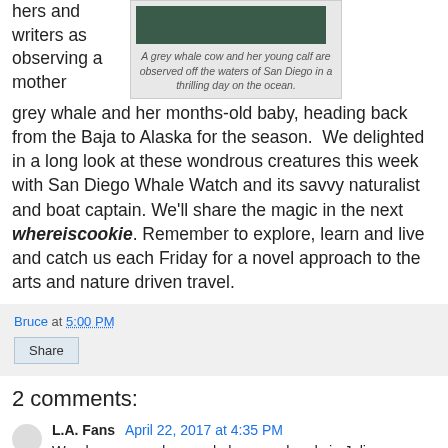hers and writers as observing a mother grey whale and her months-old baby, heading back from the Baja to Alaska for the season.  We delighted in a long look at these wondrous creatures this week with San Diego Whale Watch and its savvy naturalist and boat captain. We'll share the magic in the next whereiscookie. Remember to explore, learn and live and catch us each Friday for a novel approach to the arts and nature driven travel.
[Figure (photo): A grey whale cow and her young calf observed off the waters of San Diego]
A grey whale cow and her young calf are observed off the waters of San Diego in a thrilling day on the ocean.
Bruce at 5:00 PM
Share
2 comments:
L.A. Fans  April 22, 2017 at 4:35 PM
We always spend a couple long weekends in Julian, once